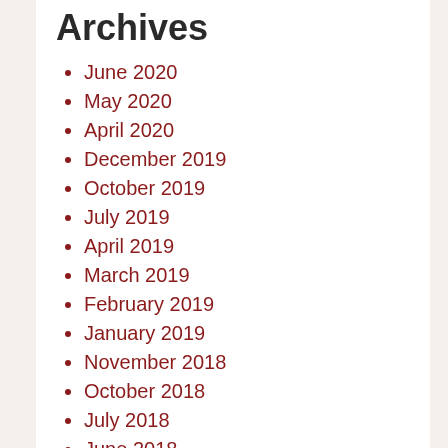Archives
June 2020
May 2020
April 2020
December 2019
October 2019
July 2019
April 2019
March 2019
February 2019
January 2019
November 2018
October 2018
July 2018
June 2018
May 2018
April 2018
March 2018
February 2018
January 2018